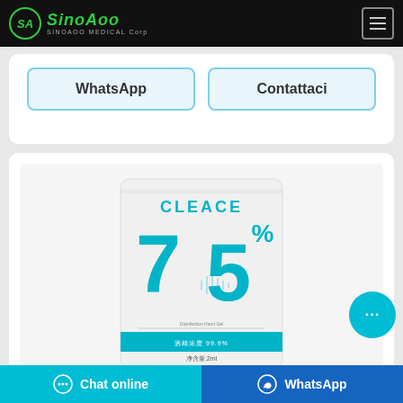SINOAOO MEDICAL Corp
WhatsApp
Contattaci
[Figure (photo): CLEACE 75% hand sanitizer gel packet, white packet with teal/cyan text and large 75% display, Chinese text at bottom indicating 酒精浓度 99.9% and 净含量:2ml]
Chat online | WhatsApp